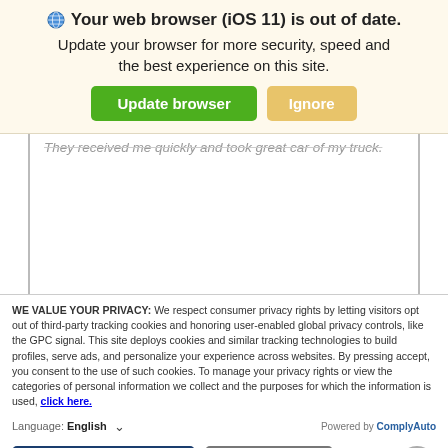Your web browser (iOS 11) is out of date. Update your browser for more security, speed and the best experience on this site.
They received me quickly and took great car of my truck.
WE VALUE YOUR PRIVACY: We respect consumer privacy rights by letting visitors opt out of third-party tracking cookies and honoring user-enabled global privacy controls, like the GPC signal. This site deploys cookies and similar tracking technologies to build profiles, serve ads, and personalize your experience across websites. By pressing accept, you consent to the use of such cookies. To manage your privacy rights or view the categories of personal information we collect and the purposes for which the information is used, click here.
Language: English  Powered by ComplyAuto